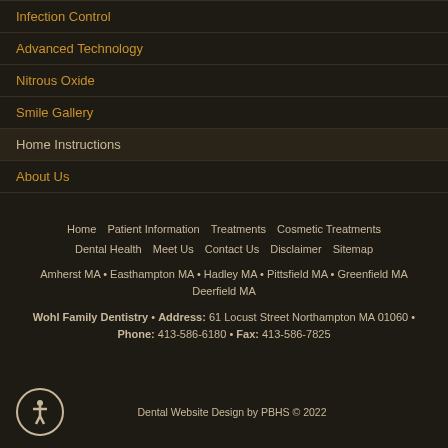Infection Control
Advanced Technology
Nitrous Oxide
Smile Gallery
Home Instructions
About Us
Home  Patient Information  Treatments  Cosmetic Treatments  Dental Health  Meet Us  Contact Us  Disclaimer  Sitemap
Amherst MA • Easthampton MA • Hadley MA • Pittsfield MA • Greenfield MA
Deerfield MA
Wohl Family Dentistry • Address: 61 Locust Street Northampton MA 01060 • Phone: 413-586-6180 • Fax: 413-586-7825
Dental Website Design by PBHS © 2022